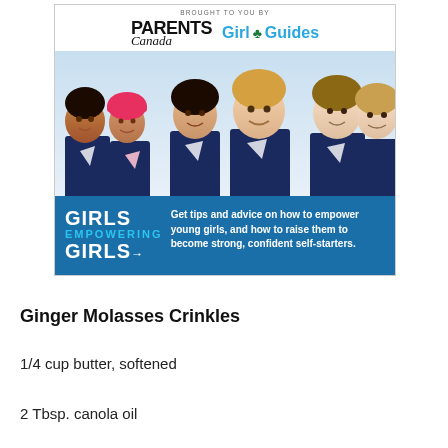[Figure (infographic): Advertisement brought to you by Parents Canada and Girl Guides. Shows a group of young girls in Girl Guides uniforms smiling together. Bottom banner reads 'GIRLS EMPOWERING GIRLS' with text: 'Get tips and advice on how to empower young girls, and how to raise them to become strong, confident self-starters.']
Ginger Molasses Crinkles
1/4 cup butter, softened
2 Tbsp. canola oil